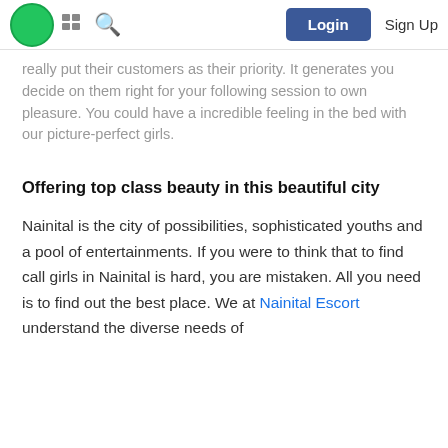Login  Sign Up
...They are decisive and independent, so they really put their customers as their priority. It generates you decide on them right for your following session to own pleasure. You could have a incredible feeling in the bed with our picture-perfect girls.
Offering top class beauty in this beautiful city
Nainital is the city of possibilities, sophisticated youths and a pool of entertainments. If you were to think that to find call girls in Nainital is hard, you are mistaken. All you need is to find out the best place. We at Nainital Escort understand the diverse needs of